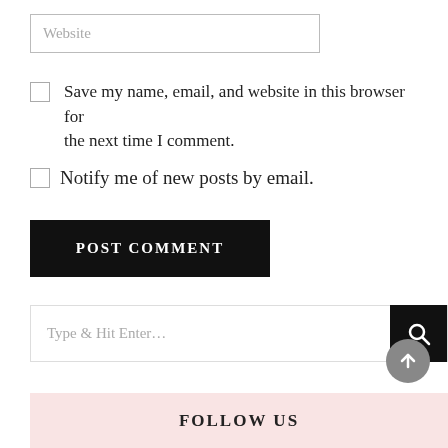Website
Save my name, email, and website in this browser for the next time I comment.
Notify me of new posts by email.
POST COMMENT
Type & Hit Enter…
FOLLOW US